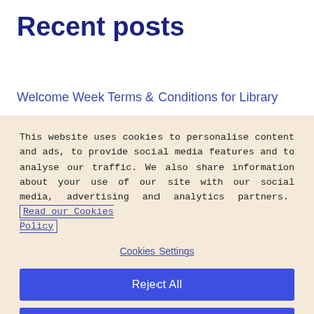Recent posts
Welcome Week Terms & Conditions for Library
This website uses cookies to personalise content and ads, to provide social media features and to analyse our traffic. We also share information about your use of our site with our social media, advertising and analytics partners. Read our Cookies Policy
Cookies Settings
Reject All
Accept All Cookies